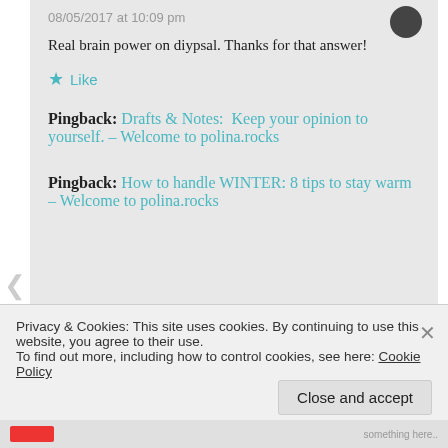08/05/2017 at 10:09 pm
Real brain power on diypsal. Thanks for that answer!
★ Like
Pingback: Drafts & Notes:  Keep your opinion to yourself. – Welcome to polina.rocks
Pingback: How to handle WINTER: 8 tips to stay warm – Welcome to polina.rocks
Privacy & Cookies: This site uses cookies. By continuing to use this website, you agree to their use.
To find out more, including how to control cookies, see here: Cookie Policy
Close and accept